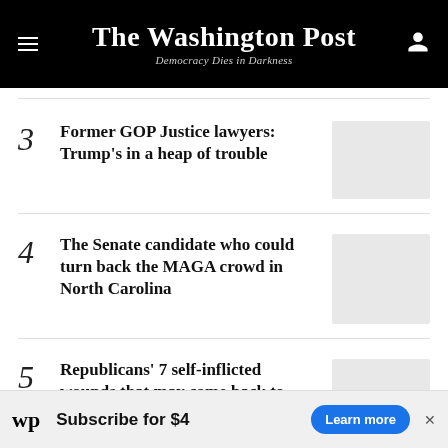The Washington Post — Democracy Dies in Darkness
3 Former GOP Justice lawyers: Trump's in a heap of trouble
4 The Senate candidate who could turn back the MAGA crowd in North Carolina
5 Republicans' 7 self-inflicted wounds that may come back to haunt them
Subscribe for $4 — Learn more